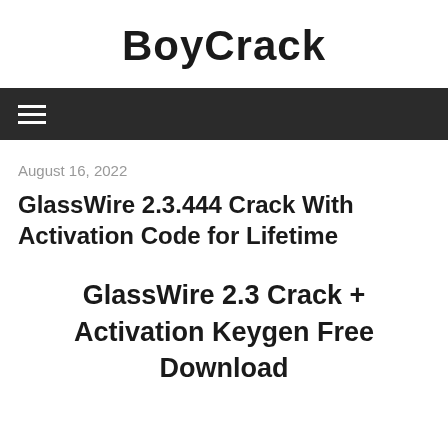BoyCrack
≡ (navigation menu)
August 16, 2022
GlassWire 2.3.444 Crack With Activation Code for Lifetime
GlassWire 2.3 Crack + Activation Keygen Free Download